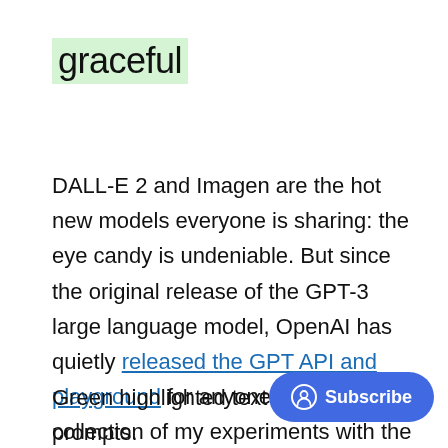graceful
DALL-E 2 and Imagen are the hot new models everyone is sharing: the eye candy is undeniable. But since the original release of the GPT-3 large language model, OpenAI has quietly released the GPT API and playground for anyone to try. Here's a collection of my experiments with the most recent version of the model, text-davinci-002.
Green highlighted text is by GPT, and prompts.